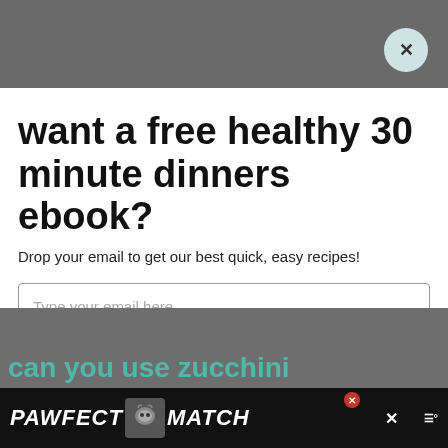want a free healthy 30 minute dinners ebook?
Drop your email to get our best quick, easy recipes!
Type your email here
SEND ME THE RECIPES!
can you use zucchini
[Figure (screenshot): PAWFECT MATCH ad banner at the bottom of the page with a cat image, close buttons and additional icon]